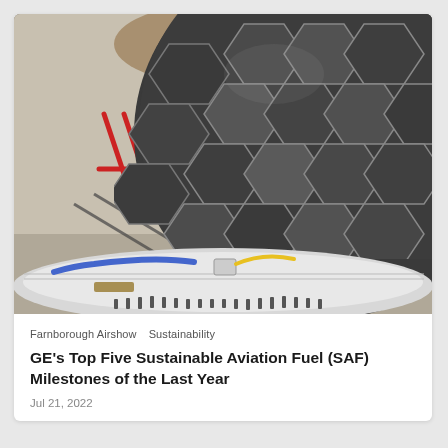[Figure (photo): Aerial/close-up view of a large aircraft jet engine nose cone with hexagonal dark composite panel tiling pattern, viewed from above. Red metal construction supports visible on concrete in upper left background. White engine ring and colored cables/connectors visible at the bottom.]
Farnborough Airshow   Sustainability
GE's Top Five Sustainable Aviation Fuel (SAF) Milestones of the Last Year
Jul 21, 2022